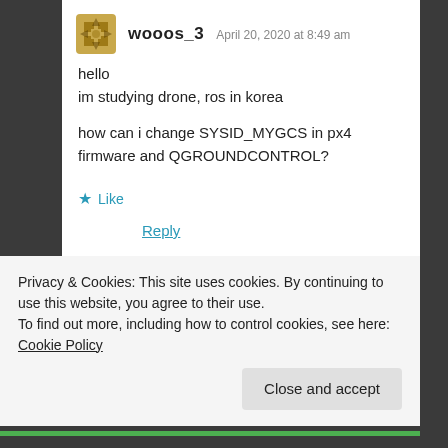[Figure (illustration): User avatar: gold/brown geometric pattern avatar for user wooos_3]
wooos_3  April 20, 2020 at 8:49 am
hello
im studying drone, ros in korea

how can i change SYSID_MYGCS in px4 firmware and QGROUNDCONTROL?
★ Like
Reply
[Figure (photo): Partial view of next commenter's avatar at bottom of page]
Privacy & Cookies: This site uses cookies. By continuing to use this website, you agree to their use.
To find out more, including how to control cookies, see here: Cookie Policy